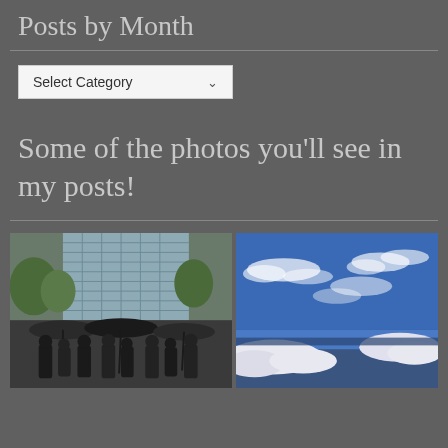Posts by Month
Select Category
Some of the photos you'll see in my posts!
[Figure (photo): Outdoor sculpture of multiple figures in coats holding umbrellas, with a modern glass office building and trees in the background.]
[Figure (photo): Aerial view of landscape with blue skies and white clouds, mountains or terrain visible below.]